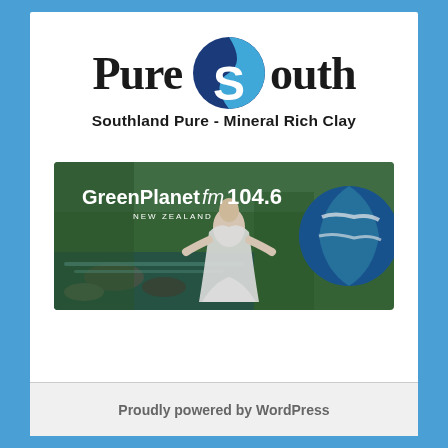[Figure (logo): Pure South logo with a blue yin-yang style 'S' symbol between the words 'Pure' and 'outh']
Southland Pure - Mineral Rich Clay
[Figure (photo): GreenPlanet fm 104.6 NEW ZEALAND banner showing a woman meditating in a forest with a stream, and the Earth globe on the right side]
Proudly powered by WordPress